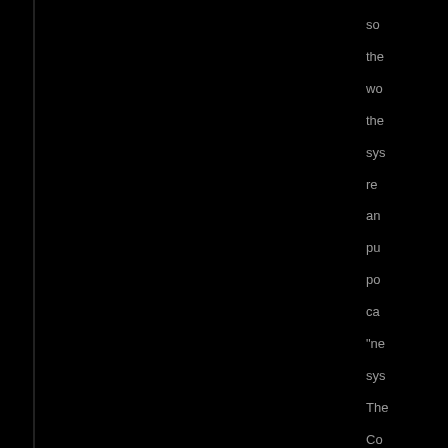so the wo the sy re an pu po ca "ne sy The Co be co the tec